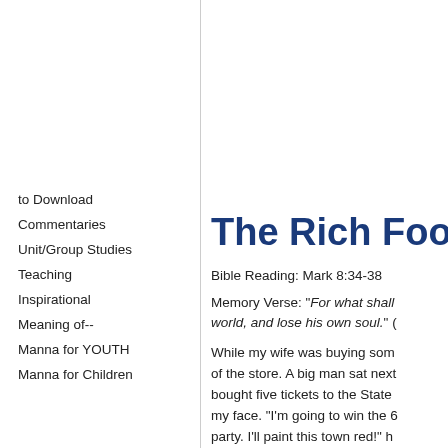The Rich Fool
Bible Reading: Mark 8:34-38
Memory Verse: "For what shall it profit a man, if he shall gain the whole world, and lose his own soul." (
While my wife was buying som of the store. A big man sat next bought five tickets to the State my face. "I'm going to win the 6 party. I'll paint this town red!" h
I reminded him that he would h
to Download
Commentaries
Unit/Group Studies
Teaching
Inspirational
Meaning of--
Manna for YOUTH
Manna for Children